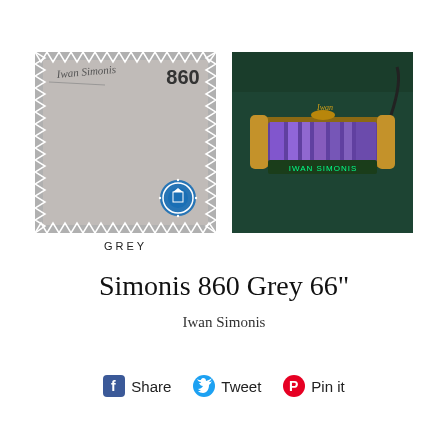[Figure (photo): Grey fabric swatch with Iwan Simonis logo and '860' label, with blue authentication seal in bottom right corner. Below the swatch is the word 'GREY' in spaced capital letters.]
[Figure (photo): UV light scanner device glowing blue/purple, placed on a dark green billiard table surface. Text 'IWAN SIMONIS' is visible in green LED display on the device.]
Simonis 860 Grey 66"
Iwan Simonis
Share   Tweet   Pin it